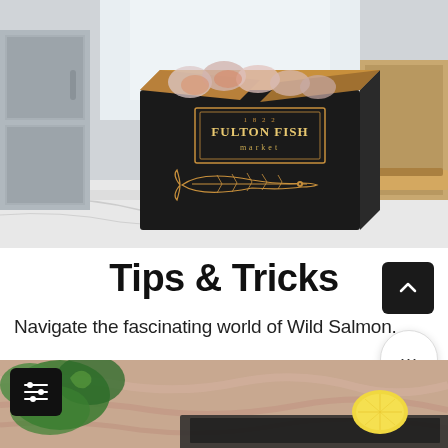[Figure (photo): A dark cardboard box labeled 'Fulton Fish Market' with a fish illustration, sitting on a white marble table in a kitchen. The box is open and contains vacuum-sealed fish packages.]
Tips & Tricks
Navigate the fascinating world of Wild Salmon.
[Figure (photo): Close-up of raw salmon fillet with herbs, lemon, and greens.]